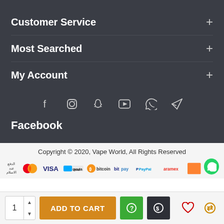Customer Service
Most Searched
My Account
[Figure (infographic): Social media icons row: Facebook, Instagram, Snapchat, YouTube, WhatsApp, Telegram]
Facebook
Copyright © 2020, Vape World, All Rights Reserved
[Figure (infographic): Payment method logos: Arabic text, Mastercard, VISA, mada, Bitcoin, bitpay, PayPal, Aramex, and two partial logos]
1  ADD TO CART
[Figure (infographic): Bottom bar with quantity selector, Add to Cart button, help and currency buttons, wishlist and exchange icons]